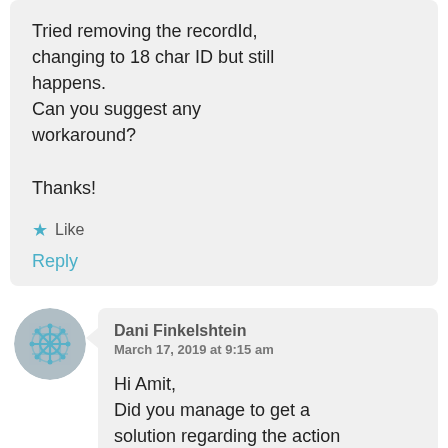Tried removing the recordId, changing to 18 char ID but still happens.
Can you suggest any workaround?

Thanks!
★ Like
Reply
[Figure (illustration): Circular avatar with teal/blue decorative pattern on gray background]
Dani Finkelshtein
March 17, 2019 at 9:15 am
Hi Amit,
Did you manage to get a solution regarding the action